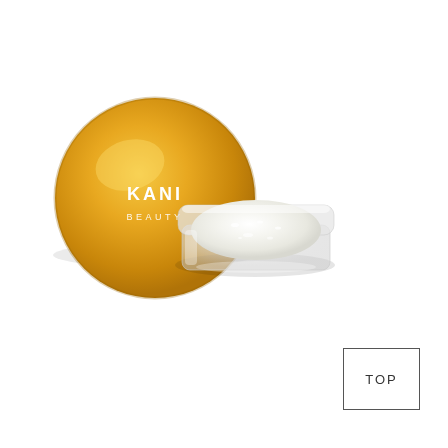[Figure (photo): Kani Beauty cosmetic product photo showing a round gold metallic lid with 'KANI BEAUTY' text in white, placed next to an open clear glass jar containing a white/pearl shimmer cream or eyeshadow product, on a white background.]
TOP